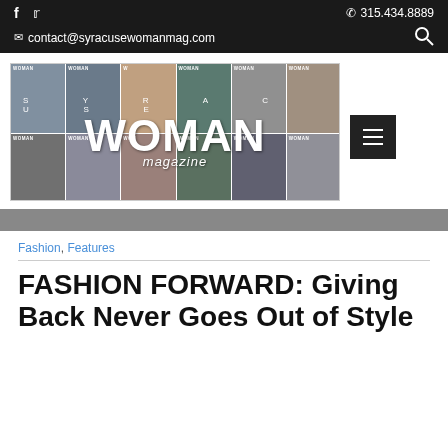f  ✓  315.434.8889  contact@syracusewomanmag.com
[Figure (illustration): Syracuse Woman Magazine collage banner showing multiple magazine covers with women on them, overlaid with large text reading SYRACUSE WOMAN magazine]
Fashion, Features
FASHION FORWARD: Giving Back Never Goes Out of Style